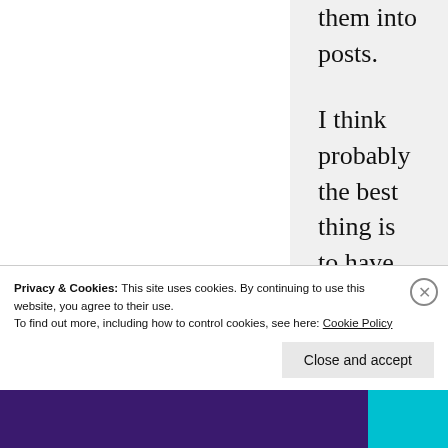them into posts.
I think probably the best thing is to have readers send me their playlists and I will post them as separate posts which will make them searchable. I can add bold and titles to the ones on the reader playlists page to make them stand out from the comments. I don't think I'll change the reader playlist page or migrate the playlists into posts –
Privacy & Cookies: This site uses cookies. By continuing to use this website, you agree to their use.
To find out more, including how to control cookies, see here: Cookie Policy
Close and accept